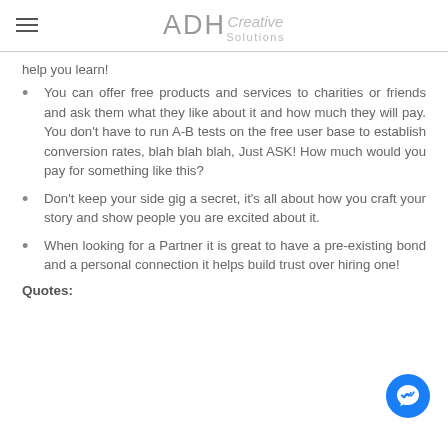ADH Creative Solutions
help you learn!
You can offer free products and services to charities or friends and ask them what they like about it and how much they will pay. You don't have to run A-B tests on the free user base to establish conversion rates, blah blah blah, Just ASK! How much would you pay for something like this?
Don't keep your side gig a secret, it's all about how you craft your story and show people you are excited about it.
When looking for a Partner it is great to have a pre-existing bond and a personal connection it helps build trust over hiring one!
Quotes: